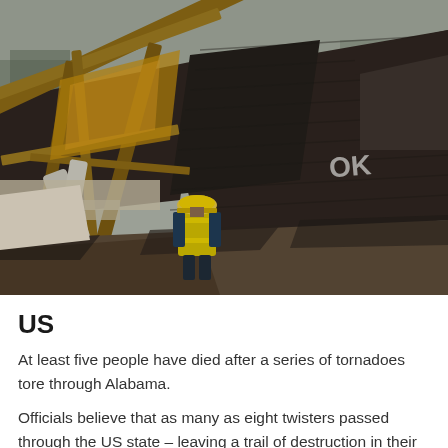[Figure (photo): A firefighter in a yellow safety vest and helmet surveys the wreckage of a house destroyed by a tornado. The roof has collapsed and debris is scattered everywhere. The word 'OK' is spray-painted in white on the dark shingle roof, indicating the structure was checked. The sky is overcast and grey.]
US
At least five people have died after a series of tornadoes tore through Alabama.
Officials believe that as many as eight twisters passed through the US state – leaving a trail of destruction in their wake.